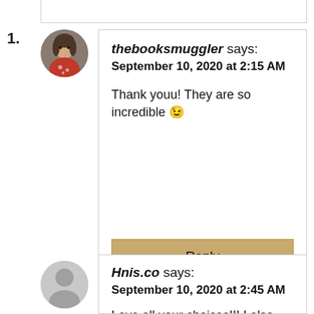1.
[Figure (photo): Circular avatar photo of a person]
thebooksmuggler says: September 10, 2020 at 2:15 AM

Thank youu! They are so incredible 😉
[Figure (photo): Gray silhouette placeholder avatar]
Hnis.co says: September 10, 2020 at 2:45 AM

Love all your choices!!! I also wanted